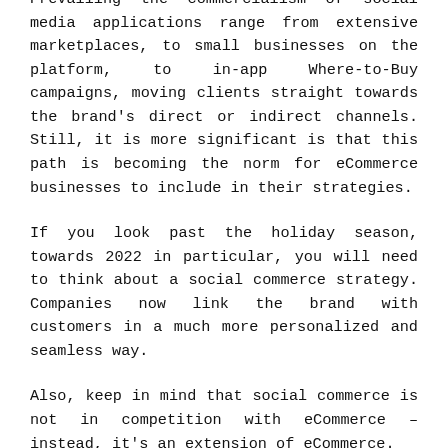Prevailing the commercialism of social media applications range from extensive marketplaces, to small businesses on the platform, to in-app Where-to-Buy campaigns, moving clients straight towards the brand's direct or indirect channels. Still, it is more significant is that this path is becoming the norm for eCommerce businesses to include in their strategies.
If you look past the holiday season, towards 2022 in particular, you will need to think about a social commerce strategy. Companies now link the brand with customers in a much more personalized and seamless way.
Also, keep in mind that social commerce is not in competition with eCommerce – instead, it's an extension of eCommerce.